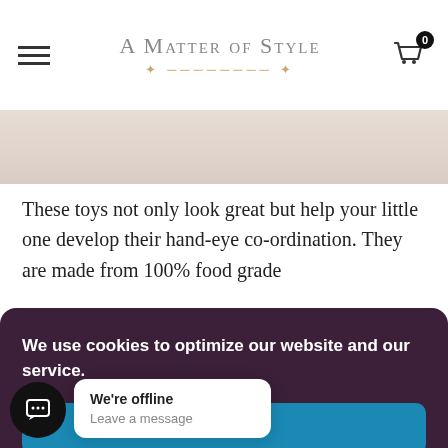A Matter of Style
[Figure (photo): Partial view of a baby/child toy product image strip at the top of the page]
These toys not only look great but help your little one develop their hand-eye co-ordination. They are made from 100% food grade
We use cookies to optimize our website and our service.
All cookies
Deny
View preferences
We're offline
Leave a message